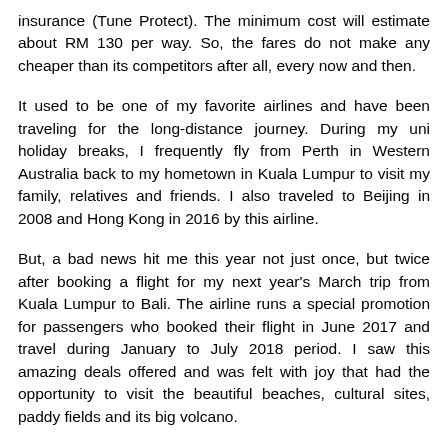insurance (Tune Protect). The minimum cost will estimate about RM 130 per way. So, the fares do not make any cheaper than its competitors after all, every now and then.
It used to be one of my favorite airlines and have been traveling for the long-distance journey. During my uni holiday breaks, I frequently fly from Perth in Western Australia back to my hometown in Kuala Lumpur to visit my family, relatives and friends. I also traveled to Beijing in 2008 and Hong Kong in 2016 by this airline.
But, a bad news hit me this year not just once, but twice after booking a flight for my next year's March trip from Kuala Lumpur to Bali. The airline runs a special promotion for passengers who booked their flight in June 2017 and travel during January to July 2018 period. I saw this amazing deals offered and was felt with joy that had the opportunity to visit the beautiful beaches, cultural sites, paddy fields and its big volcano.